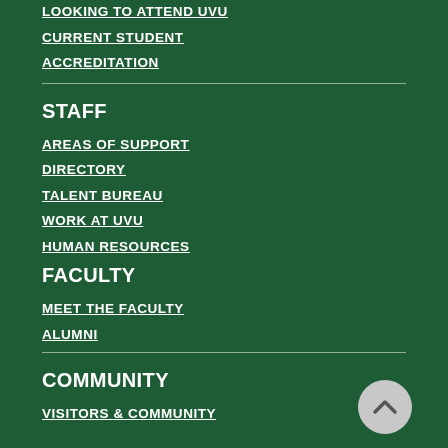LOOKING TO ATTEND UVU
CURRENT STUDENT
ACCREDITATION
STAFF
AREAS OF SUPPORT
DIRECTORY
TALENT BUREAU
WORK AT UVU
HUMAN RESOURCES
FACULTY
MEET THE FACULTY
ALUMNI
COMMUNITY
VISITORS & COMMUNITY